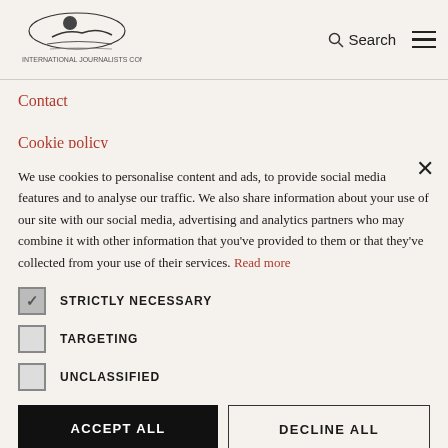Information [logo] Search ☰
Contact
Cookie policy
We use cookies to personalise content and ads, to provide social media features and to analyse our traffic. We also share information about your use of our site with our social media, advertising and analytics partners who may combine it with other information that you've provided to them or that they've collected from your use of their services. Read more
STRICTLY NECESSARY
TARGETING
UNCLASSIFIED
ACCEPT ALL
DECLINE ALL
SHOW DETAILS